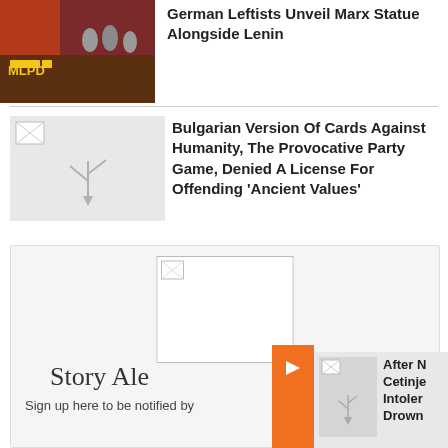[Figure (photo): Photo of Marx statue unveiling with red banners and MLPD text]
German Leftists Unveil Marx Statue Alongside Lenin
[Figure (photo): Broken/missing image placeholder]
Bulgarian Version Of Cards Against Humanity, The Provocative Party Game, Denied A License For Offending 'Ancient Values'
[Figure (photo): Broken/missing image placeholder for card area]
Story Ale...
Sign up here to be notified by...
[Figure (photo): Right side peek thumbnail with broken image]
After N... Cetinje... Intoler... Drown...